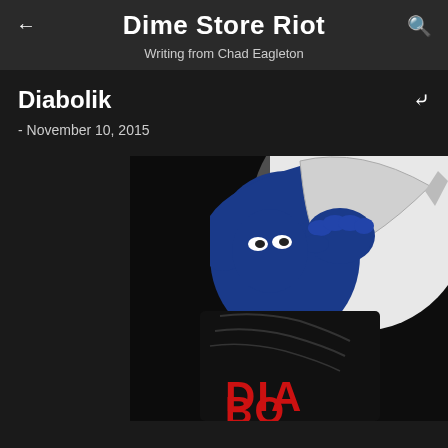Dime Store Riot
Writing from Chad Eagleton
Diabolik
- November 10, 2015
[Figure (illustration): Diabolik comic/movie poster art showing a blue-suited masked figure gripping a large knife, with red text 'DIA BO' visible at the bottom, on a dark background with white arc.]